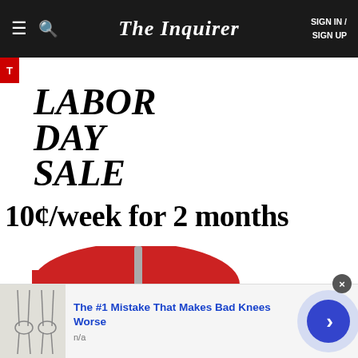The Inquirer — SIGN IN / SIGN UP
LABOR DAY SALE
10¢/week for 2 months
[Figure (illustration): Beach umbrella and bag illustration — red semi-circular umbrella with gray pole and yellow circular bag/bucket]
[Figure (illustration): Ad banner: sketch of legs/knees at left, headline 'The #1 Mistake That Makes Bad Knees Worse', source 'n/a', blue CTA arrow button, close X button]